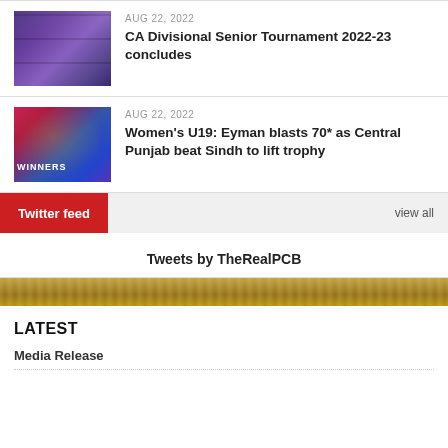[Figure (photo): Cricket team group photo collage with purple/blue tones]
AUG 22, 2022
CA Divisional Senior Tournament 2022-23 concludes
[Figure (photo): Women cricket team celebrating as WINNERS with pink/blue background]
AUG 22, 2022
Women's U19: Eyman blasts 70* as Central Punjab beat Sindh to lift trophy
Twitter feed
view all
Tweets by TheRealPCB
LATEST
Media Release